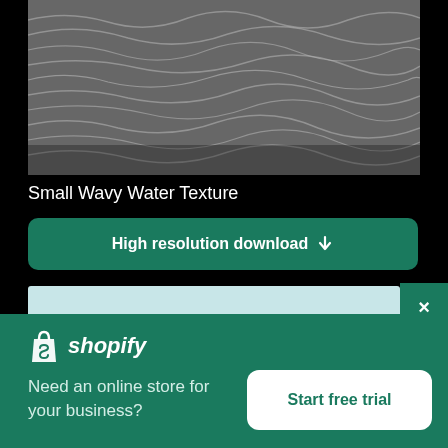[Figure (photo): Black and white photograph of small wavy water texture / rippling ocean surface viewed from above]
Small Wavy Water Texture
High resolution download ↓
[Figure (screenshot): Shopify advertisement panel with logo, tagline 'Need an online store for your business?' and 'Start free trial' button]
Need an online store for your business?
Start free trial